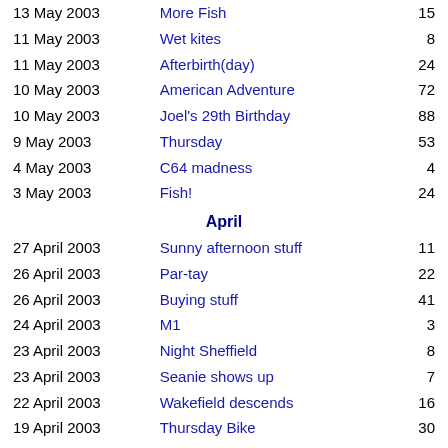| Date | Title | Count |
| --- | --- | --- |
| 13 May 2003 | More Fish | 15 |
| 11 May 2003 | Wet kites | 8 |
| 11 May 2003 | Afterbirth(day) | 24 |
| 10 May 2003 | American Adventure | 72 |
| 10 May 2003 | Joel's 29th Birthday | 88 |
| 9 May 2003 | Thursday | 53 |
| 4 May 2003 | C64 madness | 4 |
| 3 May 2003 | Fish! | 24 |
|  | April |  |
| 27 April 2003 | Sunny afternoon stuff | 11 |
| 26 April 2003 | Par-tay | 22 |
| 26 April 2003 | Buying stuff | 41 |
| 24 April 2003 | M1 | 3 |
| 23 April 2003 | Night Sheffield | 8 |
| 23 April 2003 | Seanie shows up | 7 |
| 22 April 2003 | Wakefield descends | 16 |
| 19 April 2003 | Thursday Bike | 30 |
| 18 April 2003 | Kite Flying | 23 |
| 18 April 2003 | Barbeque | 12 |
| 17 April 2003 | Random camera stuff | 11 |
| 12 April 2003 | Cold Thursday | 11 |